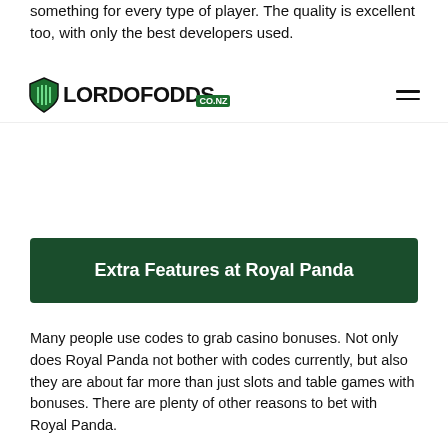something for every type of player. The quality is excellent too, with only the best developers used.
[Figure (logo): LordOfOdds.co.nz logo with green shield icon and hamburger menu]
Extra Features at Royal Panda
Many people use codes to grab casino bonuses. Not only does Royal Panda not bother with codes currently, but also they are about far more than just slots and table games with bonuses. There are plenty of other reasons to bet with Royal Panda.